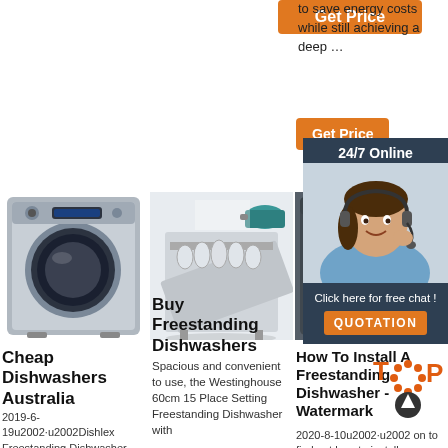[Figure (other): Orange 'Get Price' button at top center]
to save energy costs while still achieving a deep …
[Figure (other): Orange 'Get Price' button at right]
[Figure (other): 24/7 Online chat sidebar with agent photo, 'Click here for free chat!' text and QUOTATION button]
[Figure (photo): Silver front-loading washing machine]
[Figure (photo): Open dishwasher with dishes and pots, Westinghouse style]
[Figure (photo): Dark front-loading washing machine partial view]
Buy Freestanding Dishwashers
Spacious and convenient to use, the Westinghouse 60cm 15 Place Setting Freestanding Dishwasher with
Cheap Dishwashers Australia
2019-6-19u2002·u2002Dishlex Freestanding Dishwasher DSF6106W.
How To Install A Freestanding Dishwasher - Watermark
2020-8-10u2002·u2002 on to find out how to install a